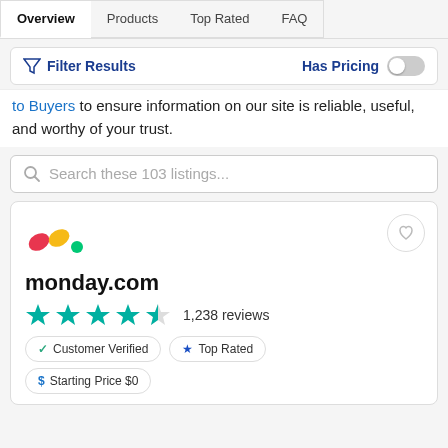Overview | Products | Top Rated | FAQ
Filter Results  |  Has Pricing (toggle off)
to Buyers to ensure information on our site is reliable, useful, and worthy of your trust.
Search these 103 listings...
monday.com
1,238 reviews
Customer Verified  |  Top Rated  |  Starting Price $0